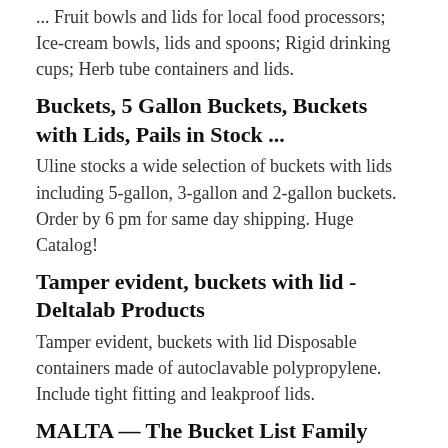... Fruit bowls and lids for local food processors; Ice-cream bowls, lids and spoons; Rigid drinking cups; Herb tube containers and lids.
Buckets, 5 Gallon Buckets, Buckets with Lids, Pails in Stock ...
Uline stocks a wide selection of buckets with lids including 5-gallon, 3-gallon and 2-gallon buckets. Order by 6 pm for same day shipping. Huge Catalog!
Tamper evident, buckets with lid - Deltalab Products
Tamper evident, buckets with lid Disposable containers made of autoclavable polypropylene. Include tight fitting and leakproof lids.
MALTA — The Bucket List Family
ACCOMODATIONS: Seashells Resort Malta · Farm House on Gozo - Baron Group. ACTIVITIES: Malta Tourism · Popeye Village · Malta National Aquarium ·